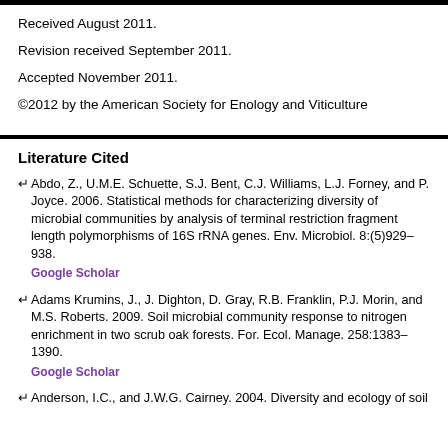Received August 2011.
Revision received September 2011.
Accepted November 2011.
©2012 by the American Society for Enology and Viticulture
Literature Cited
Abdo, Z., U.M.E. Schuette, S.J. Bent, C.J. Williams, L.J. Forney, and P. Joyce. 2006. Statistical methods for characterizing diversity of microbial communities by analysis of terminal restriction fragment length polymorphisms of 16S rRNA genes. Env. Microbiol. 8:(5)929–938.
Google Scholar
Adams Krumins, J., J. Dighton, D. Gray, R.B. Franklin, P.J. Morin, and M.S. Roberts. 2009. Soil microbial community response to nitrogen enrichment in two scrub oak forests. For. Ecol. Manage. 258:1383–1390.
Google Scholar
Anderson, I.C., and J.W.G. Cairney. 2004. Diversity and ecology of soil...